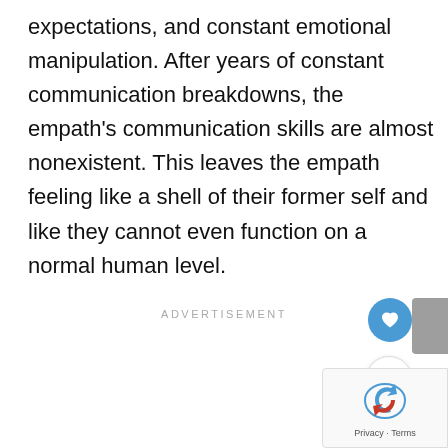expectations, and constant emotional manipulation. After years of constant communication breakdowns, the empath's communication skills are almost nonexistent. This leaves the empath feeling like a shell of their former self and like they cannot even function on a normal human level.
ADVERTISEMENT